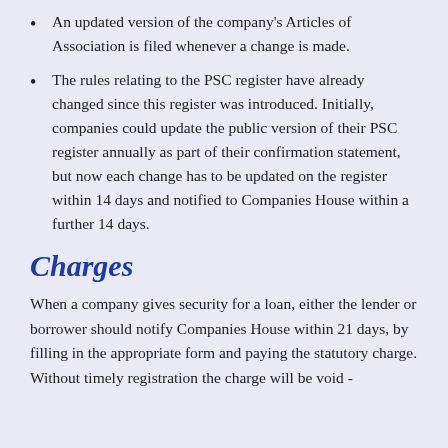An updated version of the company's Articles of Association is filed whenever a change is made.
The rules relating to the PSC register have already changed since this register was introduced. Initially, companies could update the public version of their PSC register annually as part of their confirmation statement, but now each change has to be updated on the register within 14 days and notified to Companies House within a further 14 days.
Charges
When a company gives security for a loan, either the lender or borrower should notify Companies House within 21 days, by filling in the appropriate form and paying the statutory charge. Without timely registration the charge will be void - the lender will not be able to claim their charge.